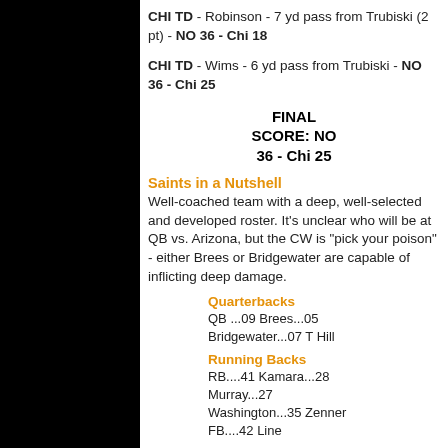CHI TD - Robinson - 7 yd pass from Trubiski (2 pt) - NO 36 - Chi 18
CHI TD - Wims - 6 yd pass from Trubiski - NO 36 - Chi 25
FINAL SCORE: NO 36 - Chi 25
Saints in a Nutshell
Well-coached team with a deep, well-selected and developed roster. It's unclear who will be at QB vs. Arizona, but the CW is "pick your poison" - either Brees or Bridgewater are capable of inflicting deep damage.
Quarterbacks
QB ...09 Brees...05 Bridgewater...07 T Hill
Running Backs
RB....41 Kamara...28 Murray...27 Washington...35 Zenner FB....42 Line
Wide Receivers
WR...13 M Thomas....11 D